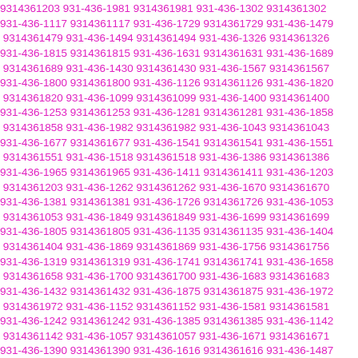9314361203 931-436-1981 9314361981 931-436-1302 9314361302 931-436-1117 9314361117 931-436-1729 9314361729 931-436-1479 9314361479 931-436-1494 9314361494 931-436-1326 9314361326 931-436-1815 9314361815 931-436-1631 9314361631 931-436-1689 9314361689 931-436-1430 9314361430 931-436-1567 9314361567 931-436-1800 9314361800 931-436-1126 9314361126 931-436-1820 9314361820 931-436-1099 9314361099 931-436-1400 9314361400 931-436-1253 9314361253 931-436-1281 9314361281 931-436-1858 9314361858 931-436-1982 9314361982 931-436-1043 9314361043 931-436-1677 9314361677 931-436-1541 9314361541 931-436-1551 9314361551 931-436-1518 9314361518 931-436-1386 9314361386 931-436-1965 9314361965 931-436-1411 9314361411 931-436-1203 9314361203 931-436-1262 9314361262 931-436-1670 9314361670 931-436-1381 9314361381 931-436-1726 9314361726 931-436-1053 9314361053 931-436-1849 9314361849 931-436-1699 9314361699 931-436-1805 9314361805 931-436-1135 9314361135 931-436-1404 9314361404 931-436-1869 9314361869 931-436-1756 9314361756 931-436-1319 9314361319 931-436-1741 9314361741 931-436-1658 9314361658 931-436-1700 9314361700 931-436-1683 9314361683 931-436-1432 9314361432 931-436-1875 9314361875 931-436-1972 9314361972 931-436-1152 9314361152 931-436-1581 9314361581 931-436-1242 9314361242 931-436-1385 9314361385 931-436-1142 9314361142 931-436-1057 9314361057 931-436-1671 9314361671 931-436-1390 9314361390 931-436-1616 9314361616 931-436-1487 9314361487 931-436-1651 9314361651 931-436-1278 9314361278 931-436-1502 9314361502 931-436-1693 9314361693 931-436-...